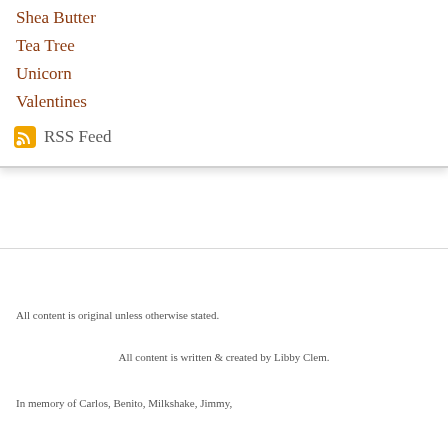Shea Butter
Tea Tree
Unicorn
Valentines
RSS Feed
All content is original unless otherwise stated.
All content is written & created by Libby Clem.
In memory of Carlos, Benito, Milkshake, Jimmy,